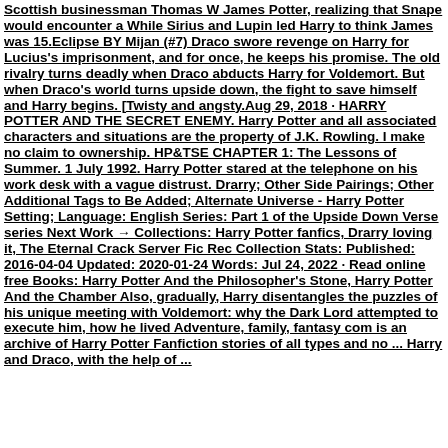Scottish businessman Thomas W James Potter, realizing that Snape would encounter a While Sirius and Lupin led Harry to think James was 15.Eclipse BY Mijan (#7) Draco swore revenge on Harry for Lucius's imprisonment, and for once, he keeps his promise. The old rivalry turns deadly when Draco abducts Harry for Voldemort. But when Draco's world turns upside down, the fight to save himself and Harry begins. [Twisty and angsty.Aug 29, 2018 · HARRY POTTER AND THE SECRET ENEMY. Harry Potter and all associated characters and situations are the property of J.K. Rowling. I make no claim to ownership. HP&TSE CHAPTER 1: The Lessons of Summer. 1 July 1992. Harry Potter stared at the telephone on his work desk with a vague distrust. Drarry; Other Side Pairings; Other Additional Tags to Be Added; Alternate Universe - Harry Potter Setting; Language: English Series: Part 1 of the Upside Down Verse series Next Work → Collections: Harry Potter fanfics, Drarry loving it, The Eternal Crack Server Fic Rec Collection Stats: Published: 2016-04-04 Updated: 2020-01-24 Words: Jul 24, 2022 · Read online free Books: Harry Potter And the Philosopher's Stone, Harry Potter And the Chamber Also, gradually, Harry disentangles the puzzles of his unique meeting with Voldemort: why the Dark Lord attempted to execute him, how he lived Adventure, family, fantasy com is an archive of Harry Potter Fanfiction stories of all types and no ... Harry and Draco, with the help of ...